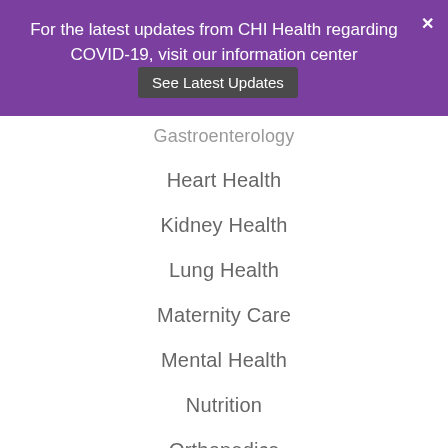For the latest updates from CHI Health regarding COVID-19, visit our information center  See Latest Updates
Gastroenterology
Heart Health
Kidney Health
Lung Health
Maternity Care
Mental Health
Nutrition
Orthopedics
Parenting
Patient Stories